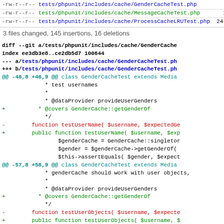-rw-r--r-- tests/phpunit/includes/cache/GenderCacheTest.php 9
-rw-r--r-- tests/phpunit/includes/cache/MessageCacheTest.php 128
-rw-r--r-- tests/phpunit/includes/cache/ProcessCacheLRUTest.php 24
3 files changed, 145 insertions, 16 deletions
diff --git a/tests/phpunit/includes/cache/GenderCache...
index ee3db3e8..ce2db5d7 100644
--- a/tests/phpunit/includes/cache/GenderCacheTest.ph
+++ b/tests/phpunit/includes/cache/GenderCacheTest.ph
@@ -46,8 +46,9 @@ class GenderCacheTest extends Media
code diff block content